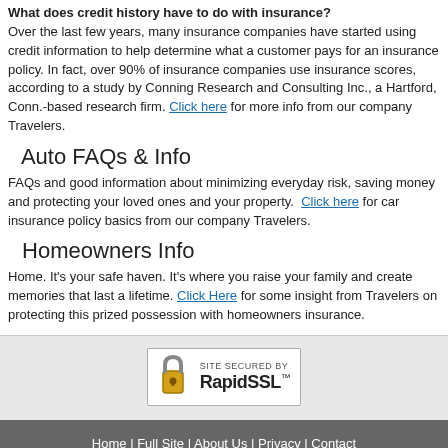What does credit history have to do with insurance? Over the last few years, many insurance companies have started using credit information to help determine what a customer pays for an insurance policy. In fact, over 90% of insurance companies use insurance scores, according to a study by Conning Research and Consulting Inc., a Hartford, Conn.-based research firm. Click here for more info from our company Travelers.
Auto FAQs & Info
FAQs and good information about minimizing everyday risk, saving money and protecting your loved ones and your property. Click here for car insurance policy basics from our company Travelers.
Homeowners Info
Home. It's your safe haven. It's where you raise your family and create memories that last a lifetime. Click Here for some insight from Travelers on protecting this prized possession with homeowners insurance.
[Figure (logo): Site Secured by RapidSSL badge with padlock icon]
Home | Full Site | About Us | Privacy | Contact
Insurance Websites Designed and Hosted by Insurance Website Builder